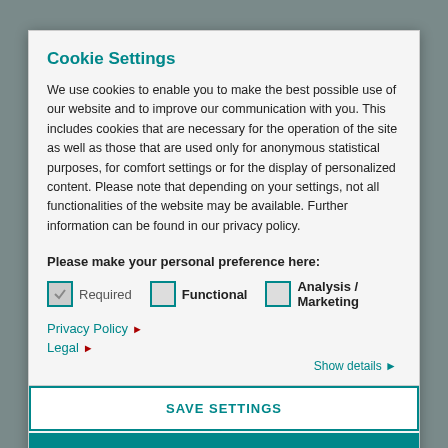Cookie Settings
We use cookies to enable you to make the best possible use of our website and to improve our communication with you. This includes cookies that are necessary for the operation of the site as well as those that are used only for anonymous statistical purposes, for comfort settings or for the display of personalized content. Please note that depending on your settings, not all functionalities of the website may be available. Further information can be found in our privacy policy.
Please make your personal preference here:
Required   Functional   Analysis / Marketing
Privacy Policy ▶
Legal ▶
Show details ▶
SAVE SETTINGS
ACCEPT ALL COOKIES